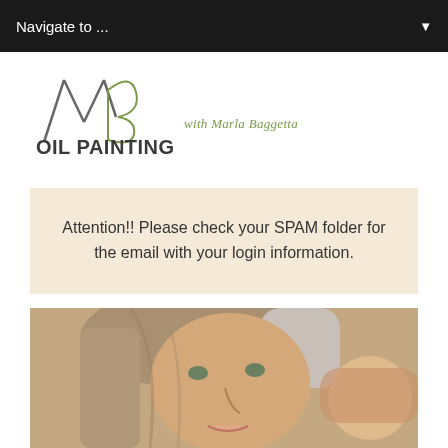Navigate to ...
[Figure (logo): MB Oil Painting Lessons with Marla Baggetta logo — stylized MB monogram in green/grey with bold dark text]
Attention!! Please check your SPAM folder for the email with your login information.
[Figure (photo): Close-up photo of a woman with long grey-brown hair, looking upward, appearing to be an artist or instructor]